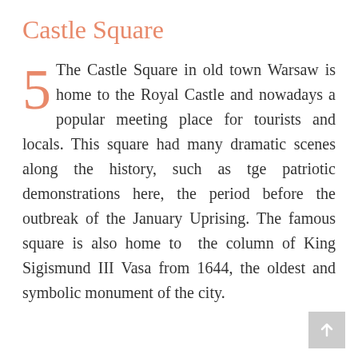Castle Square
5 The Castle Square in old town Warsaw is home to the Royal Castle and nowadays a popular meeting place for tourists and locals. This square had many dramatic scenes along the history, such as tge patriotic demonstrations here, the period before the outbreak of the January Uprising. The famous square is also home to the column of King Sigismund III Vasa from 1644, the oldest and symbolic monument of the city.